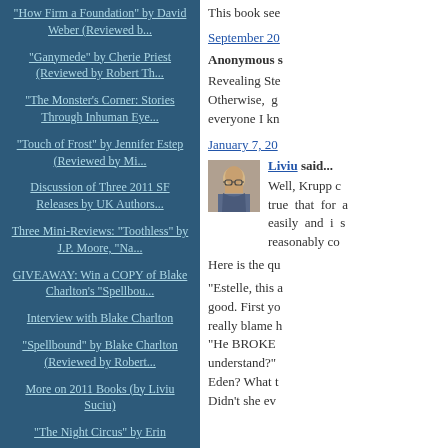"How Firm a Foundation" by David Weber (Reviewed b...
"Ganymede" by Cherie Priest (Reviewed by Robert Th...
"The Monster's Corner: Stories Through Inhuman Eye...
"Touch of Frost" by Jennifer Estep (Reviewed by Mi...
Discussion of Three 2011 SF Releases by UK Authors...
Three Mini-Reviews: "Toothless" by J.P. Moore, "Na...
GIVEAWAY: Win a COPY of Blake Charlton's "Spellbou...
Interview with Blake Charlton
"Spellbound" by Blake Charlton (Reviewed by Robert...
More on 2011 Books (by Liviu Suciu)
"The Night Circus" by Erin
This book see
September 20
Anonymous s
Revealing Ste Otherwise, g everyone I kn
January 7, 20
Liviu said...
Well, Krupp c true that for a easily and i s reasonably co
Here is the qu
"Estelle, this a good. First yo really blame h "He BROKE understand?" Eden? What t Didn't she ev